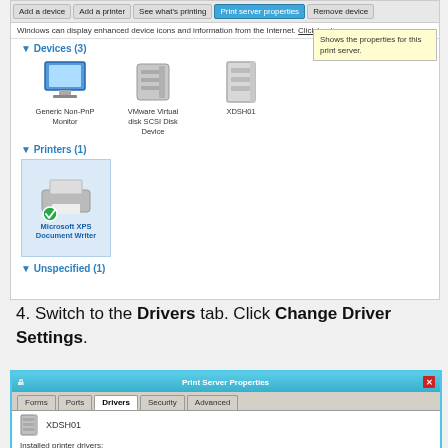[Figure (screenshot): Windows Devices and Printers screen showing toolbar with Add a device, Add a printer, See what's printing, Print server properties (active), Remove device buttons. A tooltip says 'Shows the properties for this print server.' Section Devices (3) shows Generic Non-PnP Monitor, VMware Virtual disk SCSI Disk Device, XDSH01 icons. Section Printers (1) shows Microsoft XPS Document Writer with a green checkmark. Section Unspecified (1) at the bottom.]
4. Switch to the Drivers tab. Click Change Driver Settings.
[Figure (screenshot): Print Server Properties dialog. Tabs: Forms, Ports, Drivers (active), Security, Advanced. Shows server icon labeled XDSH01. Installed printer drivers table with columns Name, Processor, Type. Row: Citrix Universal Printer, x64, Type 3 - User Mode (highlighted in blue). Partial next row visible.]